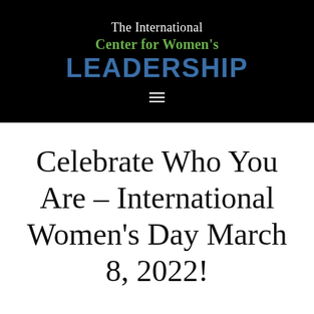[Figure (logo): The International Center for Women's Leadership logo on black background with white, green, and blue text, plus hamburger menu icon]
Celebrate Who You Are – International Women's Day March 8, 2022!